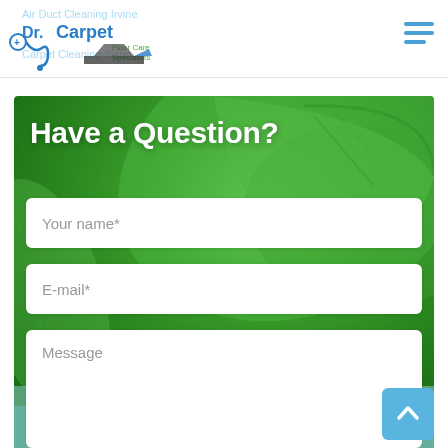[Figure (logo): Dr. Carpet Floor Care Specialists logo with stethoscope icon and carpet/vacuum illustration]
[Figure (other): Hamburger menu icon (three horizontal blue lines)]
[Figure (photo): Large green leaf background photo behind the contact form section]
Have a Question?
Your name*
E-mail*
Message
[Figure (other): Light blue scroll-to-top button with upward chevron arrow]